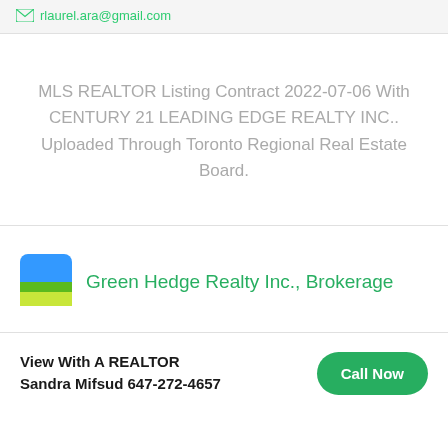rlaurel.ara@gmail.com
MLS REALTOR Listing Contract 2022-07-06 With CENTURY 21 LEADING EDGE REALTY INC.. Uploaded Through Toronto Regional Real Estate Board.
[Figure (logo): Green Hedge Realty Inc., Brokerage logo — square icon with blue top half and green/yellow-green bottom half]
Green Hedge Realty Inc., Brokerage
View With A REALTOR
Sandra Mifsud 647-272-4657
Call Now